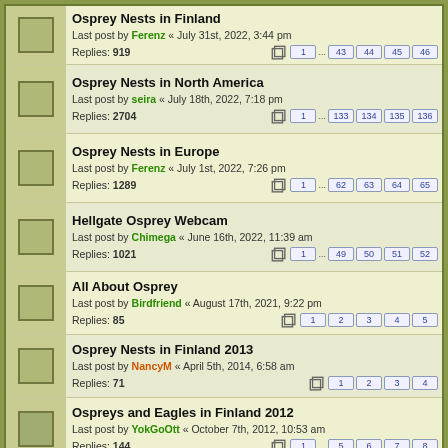Osprey Nests in Finland
Last post by Ferenz « July 31st, 2022, 3:44 pm
Replies: 919
Pages: 1 ... 43 44 45 46
Osprey Nests in North America
Last post by seira « July 18th, 2022, 7:18 pm
Replies: 2704
Pages: 1 ... 133 134 135 136
Osprey Nests in Europe
Last post by Ferenz « July 1st, 2022, 7:26 pm
Replies: 1289
Pages: 1 ... 62 63 64 65
Hellgate Osprey Webcam
Last post by Chimega « June 16th, 2022, 11:39 am
Replies: 1021
Pages: 1 ... 49 50 51 52
All About Osprey
Last post by Birdfriend « August 17th, 2021, 9:22 pm
Replies: 85
Pages: 1 2 3 4 5
Osprey Nests in Finland 2013
Last post by NancyM « April 5th, 2014, 6:58 am
Replies: 71
Pages: 1 2 3 4
Ospreys and Eagles in Finland 2012
Last post by YokGoOtt « October 7th, 2012, 10:53 am
Replies: 144
Pages: 1 ... 5 6 7 8
Saaristomeri Archipelago Osprey cam - 2010
This website uses cookies to ensure you get the best experience on our website. Learn more